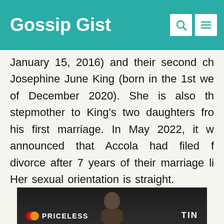Gossip Gist
January 15, 2016) and their second ch Josephine June King (born in the 1st we of December 2020). She is also th stepmother to King's two daughters fro his first marriage. In May 2022, it w announced that Accola had filed f divorce after 7 years of their marriage li Her sexual orientation is straight.
[Figure (photo): Photo of a person at a Mastercard Priceless event with text 'PRICELESS' and 'TIN' visible at the bottom]